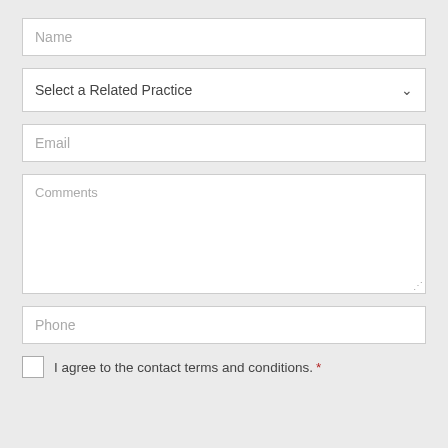Name
Select a Related Practice
Email
Comments
Phone
I agree to the contact terms and conditions. *